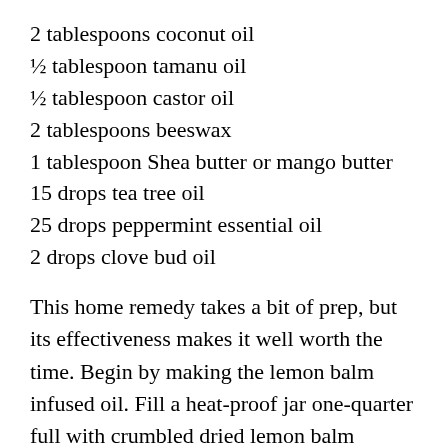2 tablespoons coconut oil
½ tablespoon tamanu oil
½ tablespoon castor oil
2 tablespoons beeswax
1 tablespoon Shea butter or mango butter
15 drops tea tree oil
25 drops peppermint essential oil
2 drops clove bud oil
This home remedy takes a bit of prep, but its effectiveness makes it well worth the time. Begin by making the lemon balm infused oil. Fill a heat-proof jar one-quarter full with crumbled dried lemon balm leaves. Slowly pour olive or sunflower oil into the jar until almost full. Next, place the jar in a saucepan filled with a few inches of water. Heat over low or medium-low heat for a few hours, taking care not to burn the herbs. Once infused, strain and store in a sealed jar in a dark, cool